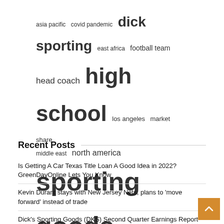[Figure (infographic): Tag cloud with terms of varying sizes: asia pacific, covid pandemic, dick sporting (large), east africa, football team, head coach, high school (very large), los angeles, market share, middle east, north america, sporting goods (very large), title loans, united states (very large), yards touchdowns]
Recent Posts
Is Getting A Car Texas Title Loan A Good Idea in 2022? GreenDayOnline Lets You Know
Kevin Durant stays with New Jersey Nets, plans to 'move forward' instead of trade
Dick's Sporting Goods (DKS) Second Quarter Earnings Report